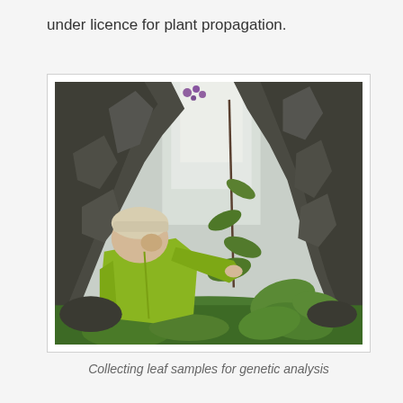under licence for plant propagation.
[Figure (photo): A person wearing a yellow-green jacket and light-colored beanie hat is collecting leaf samples from plants growing between rocky cliff faces. The scene is outdoors on a misty, overcast day. The person is reaching toward green plants and a tall stem with leaves. Rocky outcrops covered in moss are visible on both sides.]
Collecting leaf samples for genetic analysis